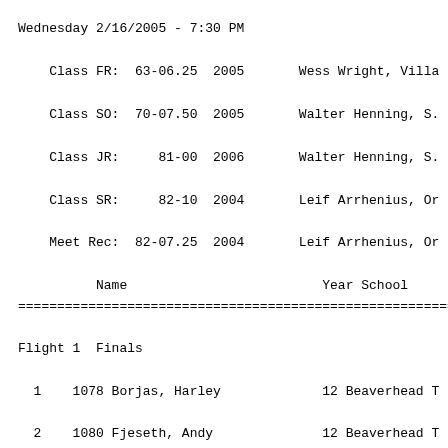Wednesday 2/16/2005 - 7:30 PM
Class FR:  63-06.25  2005    Wess Wright, Villa
Class SO:  70-07.50  2005    Walter Henning, S.
Class JR:     81-00  2006    Walter Henning, S.
Class SR:     82-10  2004    Leif Arrhenius, Or
Meet Rec:  82-07.25  2004    Leif Arrhenius, Or
Name                    Year School
================================================================
Flight 1  Finals
1    1078 Borjas, Harley           12 Beaverhead T
2    1080 Fjeseth, Andy             12 Beaverhead T
3    1081 Forrester, Bob            12 Beaverhead T
4    1094 Tollett, Tobin            12 Beaverhead T
5    1096 Winn, Kyle               12 Beaverhead T
6    1177 Morrill, Brian            11 Box Elder T